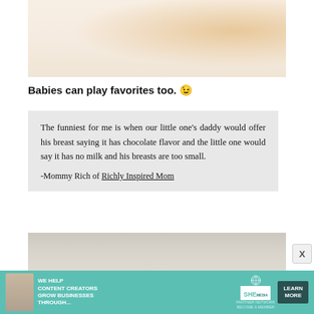[Figure (photo): Close-up soft-focus photo of a baby or infant, warm peachy tones]
Babies can play favorites too. 😉
The funniest for me is when our little one's daddy would offer his breast saying it has chocolate flavor and the little one would say it has no milk and his breasts are too small.

-Mommy Rich of Richly Inspired Mom
[Figure (photo): Light, airy room interior photo with soft neutral tones]
[Figure (infographic): SHE Partner Network advertisement banner: 'We help content creators grow businesses through... Learn More']